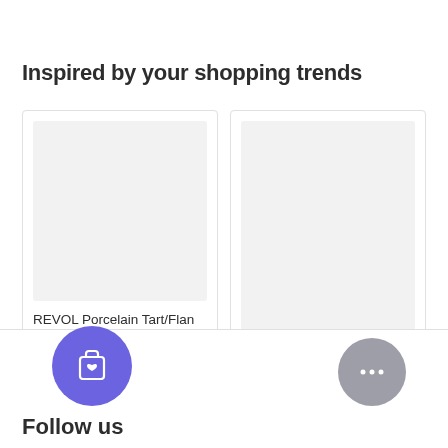Inspired by your shopping trends
[Figure (photo): Product image placeholder for REVOL Porcelain Tart/Flan Dish 30cm]
REVOL Porcelain Tart/Flan Dish, 30cm
$68.00
[Figure (photo): Product image placeholder for REVOL Porcelain Souffle Dish]
REVOL Porcelain Souffle Dish, 1.64l
[Figure (illustration): Purple circular wishlist/shopping bag button icon]
[Figure (illustration): Grey circular chat button with ellipsis]
Follow us